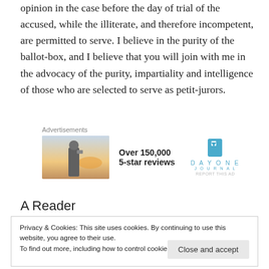opinion in the case before the day of trial of the accused, while the illiterate, and therefore incompetent, are permitted to serve. I believe in the purity of the ballot-box, and I believe that you will join with me in the advocacy of the purity, impartiality and intelligence of those who are selected to serve as petit-jurors.
[Figure (advertisement): Advertisement block with photo of person holding phone at sunset, Day One Journal app ad showing 'Over 150,000 5-star reviews']
A Reader
Privacy & Cookies: This site uses cookies. By continuing to use this website, you agree to their use. To find out more, including how to control cookies, see here: Cookie Policy
and greatly appreciate his commendations of the